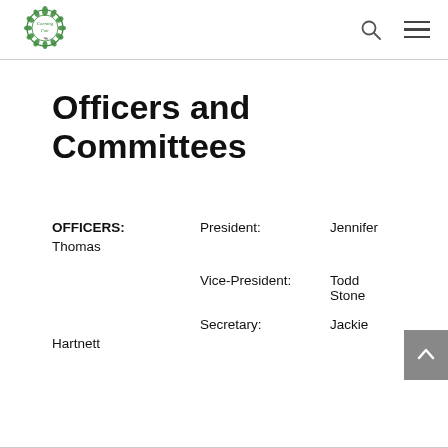Corning Fair logo, search icon, menu icon
Officers and Committees
OFFICERS:   President:   Jennifer Thomas
Vice-President:   Todd Stone
Secretary:   Jackie Hartnett